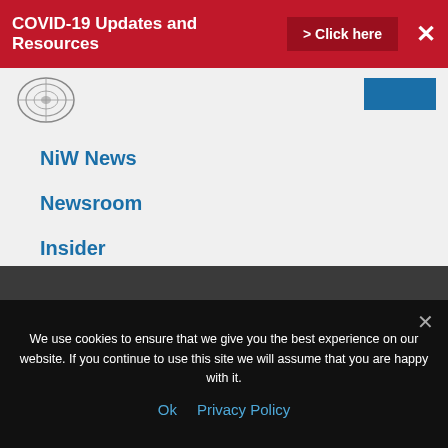COVID-19 Updates and Resources > Click here ✕
[Figure (logo): NATCA circular radar/satellite logo in grey tones]
NiW News
Newsroom
Insider
Press Releases
NATCA in the Media
Members Home
We use cookies to ensure that we give you the best experience on our website. If you continue to use this site we will assume that you are happy with it.
Ok   Privacy Policy